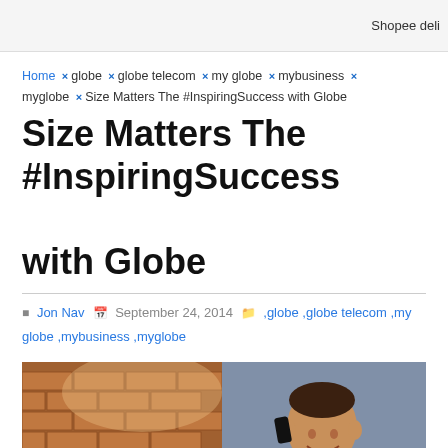Shopee deli
Home × globe × globe telecom × my globe × mybusiness × myglobe × Size Matters The #InspiringSuccess with Globe
Size Matters The #InspiringSuccess with Globe
Jon Nav  September 24, 2014  ,globe ,globe telecom ,my globe ,mybusiness ,myglobe
[Figure (photo): A man talking on a mobile phone, seated against a brick wall background, wearing a blue shirt]